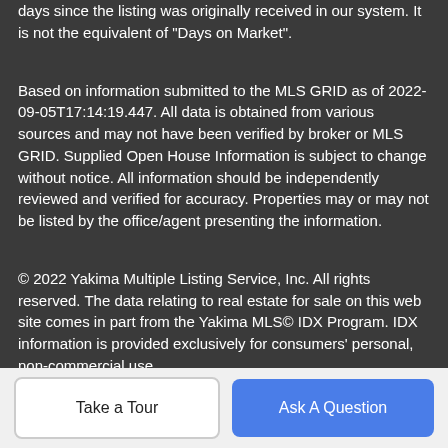days since the listing was originally received in our system. It is not the equivalent of "Days on Market".
Based on information submitted to the MLS GRID as of 2022-09-05T17:14:19.447. All data is obtained from various sources and may not have been verified by broker or MLS GRID. Supplied Open House Information is subject to change without notice. All information should be independently reviewed and verified for accuracy. Properties may or may not be listed by the office/agent presenting the information.
© 2022 Yakima Multiple Listing Service, Inc. All rights reserved. The data relating to real estate for sale on this web site comes in part from the Yakima MLS© IDX Program. IDX information is provided exclusively for consumers' personal, non-commercial use
Take a Tour
Ask A Question